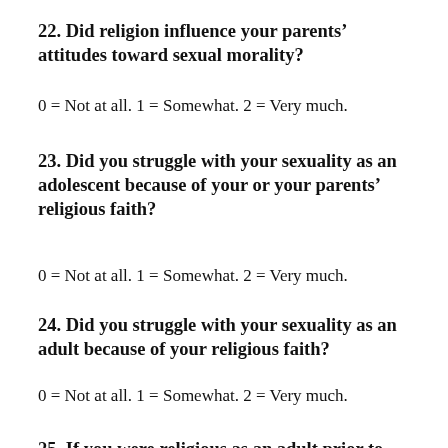22. Did religion influence your parents' attitudes toward sexual morality?
0 = Not at all. 1 = Somewhat. 2 = Very much.
23. Did you struggle with your sexuality as an adolescent because of your or your parents' religious faith?
0 = Not at all. 1 = Somewhat. 2 = Very much.
24. Did you struggle with your sexuality as an adult because of your religious faith?
0 = Not at all. 1 = Somewhat. 2 = Very much.
25. If you were religious as an adult prior to